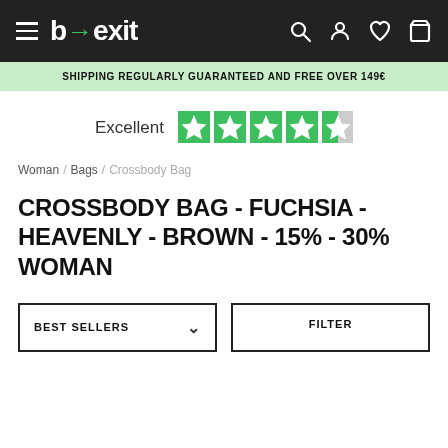b→exit (navigation bar with hamburger menu, search, account, wishlist, cart icons)
SHIPPING REGULARLY GUARANTEED AND FREE OVER 149€
Excellent (Trustpilot 4.5 stars)
Woman / Bags / Crossbody Bag
CROSSBODY BAG - FUCHSIA - HEAVENLY - BROWN - 15% - 30% WOMAN
BEST SELLERS
FILTER